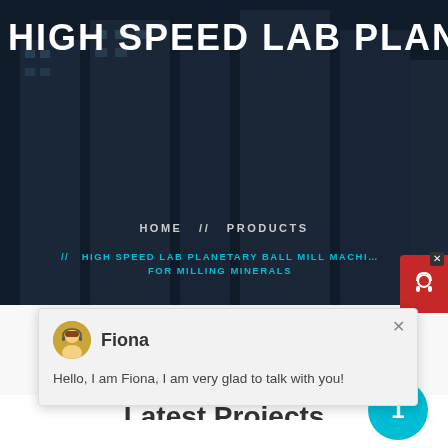HIGH SPEED LAB PLANETARY BA...
HOME // PRODUCTS
// HIGH SPEED LAB PLANETARY BALL MILL MACHINE FOR MILLING MINERALS
Fiona
Hello, I am Fiona, I am very glad to talk with you!
Latest Projects
[Figure (photo): Industrial machinery equipment in a factory setting]
1